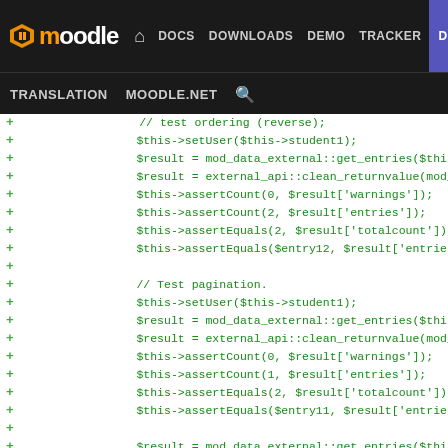moodle DOCS DOWNLOADS DEMO TRACKER DEV | TRANSLATION MOODLE.NET
[Figure (screenshot): Moodle developer navigation bar with logo, nav links (DOCS, DOWNLOADS, DEMO, TRACKER, DEV highlighted in purple), and secondary nav (TRANSLATION, MOODLE.NET, search icon)]
+ $this->setUser($this->student1);
+ $result = mod_data_external::get_entries($this->dat
+ $result = external_api::clean_returnvalue(mod_data_
+ $this->assertCount(0, $result['warnings']);
+ $this->assertCount(2, $result['entries']);
+ $this->assertEquals(2, $result['totalcount']);
+ $this->assertEquals($entry12, $result['entries'][0]
+
+ // Test pagination.
+ $this->setUser($this->student1);
+ $result = mod_data_external::get_entries($this->dat
+ $result = external_api::clean_returnvalue(mod_data_
+ $this->assertCount(0, $result['warnings']);
+ $this->assertCount(1, $result['entries']);
+ $this->assertEquals(2, $result['totalcount']);
+ $this->assertEquals($entry11, $result['entries'][0]
+
+ $result = mod_data_external::get_entries($this->dat
+ $result = external_api::clean_returnvalue(mod_data_
+ $this->assertCount(0, $result['warnings']);
+ $this->assertCount(1, $result['entries']);
+ $this->assertEquals(2, $result['totalcount']);
+ $this->assertEquals($entry12, $result['entries'][0]
+
+ // Now test the return contents.
+ data_generate_default_template($this->data, iiit